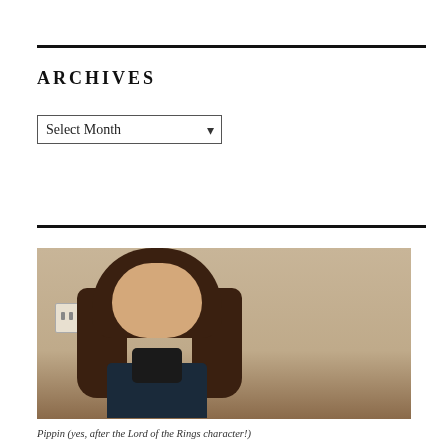ARCHIVES
Select Month
[Figure (photo): A young girl with long brown hair taking a mirror selfie with a DSLR camera, standing in front of a beige wall with an electrical outlet visible.]
Pippin (yes, after the Lord of the Rings character!)